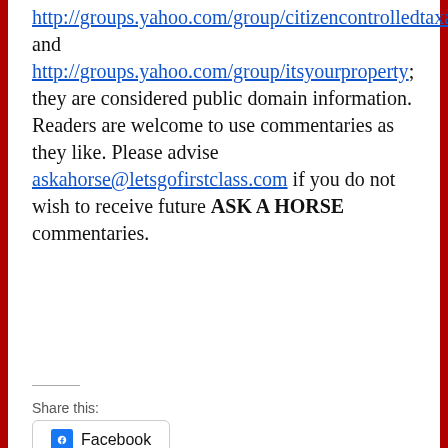http://groups.yahoo.com/group/citizencontrolledtaxation, and http://groups.yahoo.com/group/itsyourproperty; they are considered public domain information. Readers are welcome to use commentaries as they like. Please advise askahorse@letsgofirstclass.com if you do not wish to receive future ASK A HORSE commentaries.
Share this:
Facebook